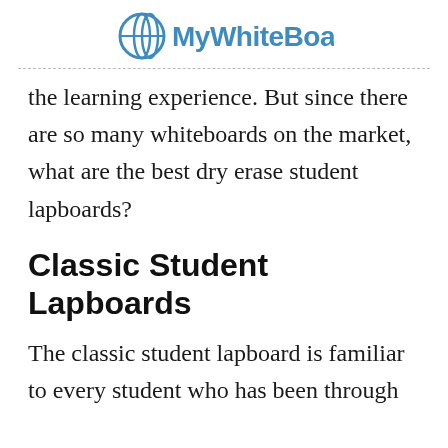MyWhiteBoards
the learning experience. But since there are so many whiteboards on the market, what are the best dry erase student lapboards?
Classic Student Lapboards
The classic student lapboard is familiar to every student who has been through schooling. On lapboards, an opinion and